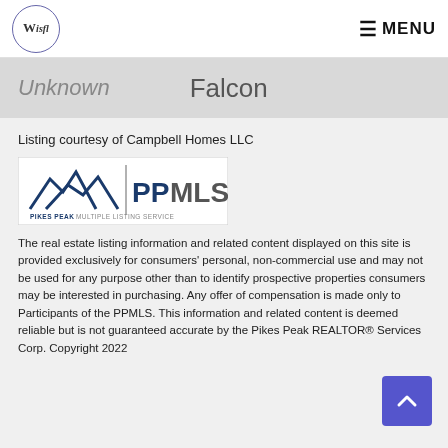Wisfl — MENU
Unknown   Falcon
Listing courtesy of Campbell Homes LLC
[Figure (logo): Pikes Peak Multiple Listing Service (PPMLS) logo with mountain graphic]
The real estate listing information and related content displayed on this site is provided exclusively for consumers' personal, non-commercial use and may not be used for any purpose other than to identify prospective properties consumers may be interested in purchasing. Any offer of compensation is made only to Participants of the PPMLS. This information and related content is deemed reliable but is not guaranteed accurate by the Pikes Peak REALTOR® Services Corp. Copyright 2022